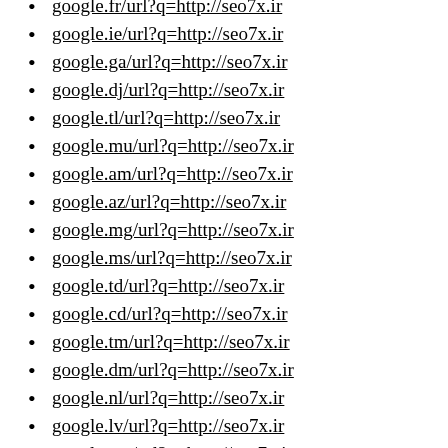google.fr/url?q=http://seo7x.ir
google.ie/url?q=http://seo7x.ir
google.ga/url?q=http://seo7x.ir
google.dj/url?q=http://seo7x.ir
google.tl/url?q=http://seo7x.ir
google.mu/url?q=http://seo7x.ir
google.am/url?q=http://seo7x.ir
google.az/url?q=http://seo7x.ir
google.mg/url?q=http://seo7x.ir
google.ms/url?q=http://seo7x.ir
google.td/url?q=http://seo7x.ir
google.cd/url?q=http://seo7x.ir
google.tm/url?q=http://seo7x.ir
google.dm/url?q=http://seo7x.ir
google.nl/url?q=http://seo7x.ir
google.lv/url?q=http://seo7x.ir
google.net/url?q=http://seo7x.ir
google.com/url?q=http://seo7x.ir
chunk9.top/url?q=http://seo7x.ir